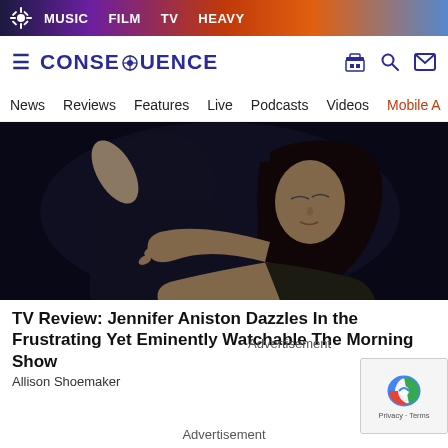MUSIC  FILM  TV  HEAVY
CONSEQUENCE — News  Reviews  Features  Live  Podcasts  Videos  Mobile A
[Figure (photo): Two people hugging in a dramatic embrace; woman with dark hair clinging to a man in a dark jacket, moody dark lighting.]
TV Review: Jennifer Aniston Dazzles In the Frustrating Yet Eminently Watchable The Morning Show
Advertisement
Allison Shoemaker
Novemb
Advertisement